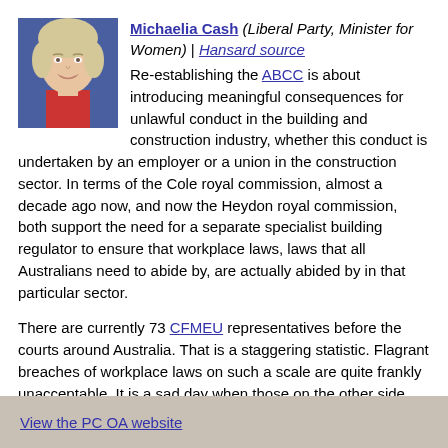[Figure (photo): Headshot photo of Michaelia Cash]
Michaelia Cash (Liberal Party, Minister for Women) | Hansard source
Re-establishing the ABCC is about introducing meaningful consequences for unlawful conduct in the building and construction industry, whether this conduct is undertaken by an employer or a union in the construction sector. In terms of the Cole royal commission, almost a decade ago now, and now the Heydon royal commission, both support the need for a separate specialist building regulator to ensure that workplace laws, laws that all Australians need to abide by, are actually abided by in that particular sector.

There are currently 73 CFMEU representatives before the courts around Australia. That is a staggering statistic. Flagrant breaches of workplace laws on such a scale are quite frankly unacceptable. It is a sad day when those on the other side are continuing to stand for unlawful behaviour in the construction sector, as opposed to standing, alongside those on this side of the chamber, for lawful behaviour. (Time expired)
View the PC OA website